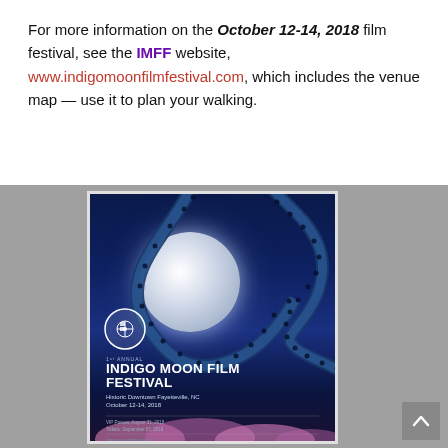For more information on the October 12-14, 2018 film festival, see the IMFF website, www.indigomoonfilmfestival.com, which includes the venue map — use it to plan your walking.
[Figure (illustration): Indigo Moon Film Festival promotional poster showing a full moon with film strips swirling around it on a dark blue night sky background. Text reads: 1st Annual INDIGO MOON FILM FESTIVAL, Historic Downtown Fayetteville, NC, October 12-14, 2018. VIP Passes August 31, 2018, Tickets September 07, 2018. indigomoonfilmfestival.com. The poster is displayed against a gray background with a back-to-top button in the bottom right.]